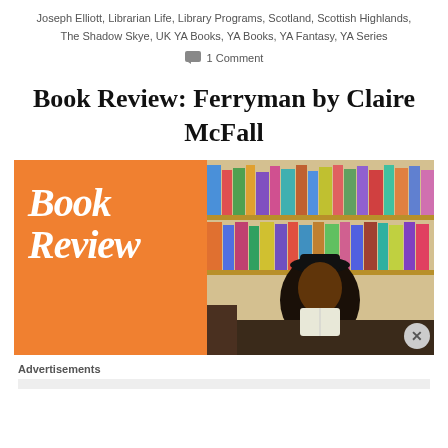Joseph Elliott, Librarian Life, Library Programs, Scotland, Scottish Highlands, The Shadow Skye, UK YA Books, YA Books, YA Fantasy, YA Series
1 Comment
Book Review: Ferryman by Claire McFall
[Figure (photo): Book Review banner image: left half orange background with cursive white text 'Book Review', right half photo of a young woman with a hat reading a book on a couch in front of a bookshelf.]
Advertisements